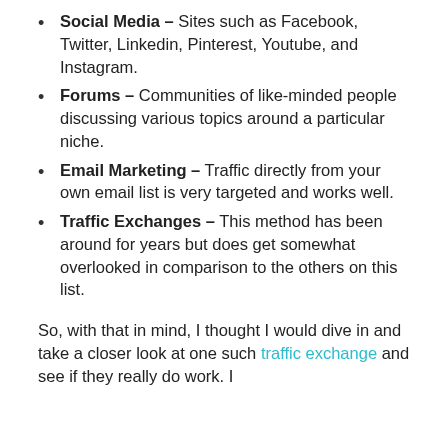Social Media – Sites such as Facebook, Twitter, Linkedin, Pinterest, Youtube, and Instagram.
Forums – Communities of like-minded people discussing various topics around a particular niche.
Email Marketing – Traffic directly from your own email list is very targeted and works well.
Traffic Exchanges – This method has been around for years but does get somewhat overlooked in comparison to the others on this list.
So, with that in mind, I thought I would dive in and take a closer look at one such traffic exchange and see if they really do work. I